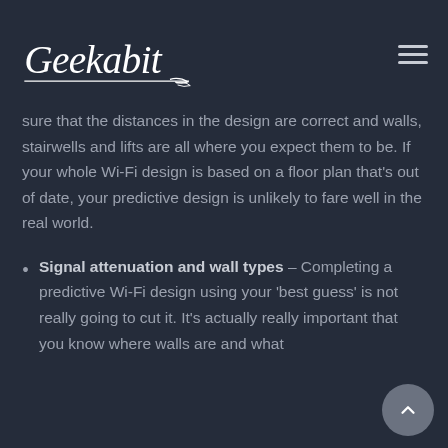Geekabit
sure that the distances in the design are correct and walls, stairwells and lifts are all where you expect them to be. If your whole Wi-Fi design is based on a floor plan that's out of date, your predictive design is unlikely to fare well in the real world.
Signal attenuation and wall types – Completing a predictive Wi-Fi design using your 'best guess' is not really going to cut it. It's actually really important that you know where walls are and what